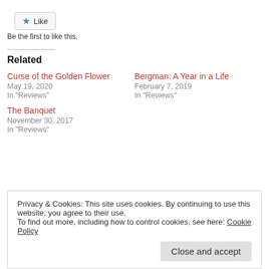★ Like
Be the first to like this.
Related
Curse of the Golden Flower
May 19, 2020
In "Reviews"
Bergman: A Year in a Life
February 7, 2019
In "Reviews"
The Banquet
November 30, 2017
In "Reviews"
Privacy & Cookies: This site uses cookies. By continuing to use this website, you agree to their use.
To find out more, including how to control cookies, see here: Cookie Policy